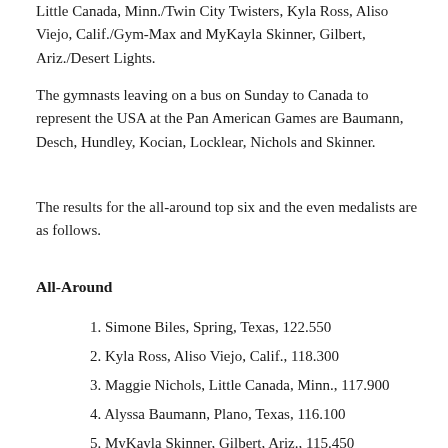Little Canada, Minn./Twin City Twisters, Kyla Ross, Aliso Viejo, Calif./Gym-Max and MyKayla Skinner, Gilbert, Ariz./Desert Lights.
The gymnasts leaving on a bus on Sunday to Canada to represent the USA at the Pan American Games are Baumann, Desch, Hundley, Kocian, Locklear, Nichols and Skinner.
The results for the all-around top six and the even medalists are as follows.
All-Around
1. Simone Biles, Spring, Texas, 122.550
2. Kyla Ross, Aliso Viejo, Calif., 118.300
3. Maggie Nichols, Little Canada, Minn., 117.900
4. Alyssa Baumann, Plano, Texas, 116.100
5. MyKayla Skinner, Gilbert, Ariz., 115.450
6. Amelia Hundley, Hamilton, Ohio, 112.200